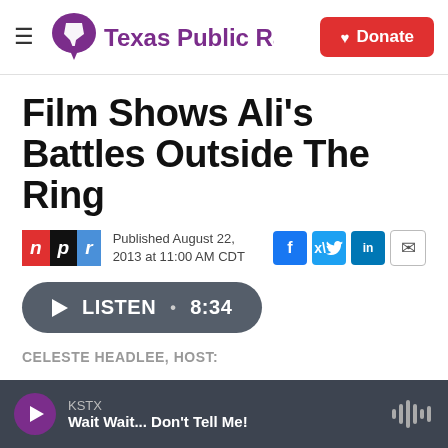Texas Public Radio — Donate
Film Shows Ali's Battles Outside The Ring
Published August 22, 2013 at 11:00 AM CDT
[Figure (other): LISTEN • 8:34 audio play button]
CELESTE HEADLEE, HOST:
[Figure (other): Bottom audio player bar: KSTX — Wait Wait... Don't Tell Me!]